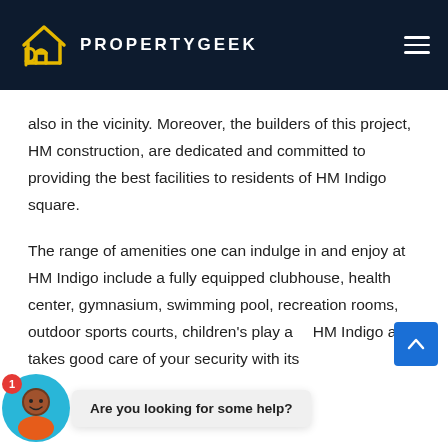PROPERTYGEEK
also in the vicinity. Moreover, the builders of this project, HM construction, are dedicated and committed to providing the best facilities to residents of HM Indigo square.
The range of amenities one can indulge in and enjoy at HM Indigo include a fully equipped clubhouse, health center, gymnasium, swimming pool, recreation rooms, outdoor sports courts, children's play a... HM Indigo also takes good care of your security with its